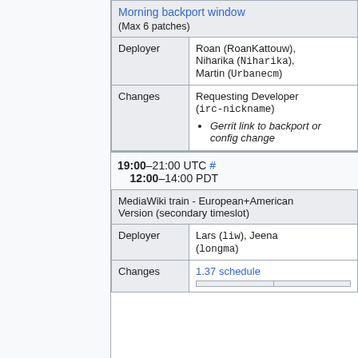Morning backport window
(Max 6 patches)
|  |  |
| --- | --- |
| Deployer | Roan (RoanKattouw), Niharika (Niharika), Martin (Urbanecm) |
| Changes | Requesting Developer (irc-nickname)
• Gerrit link to backport or config change |
19:00–21:00 UTC # 12:00–14:00 PDT
MediaWiki train - European+American Version (secondary timeslot)
|  |  |
| --- | --- |
| Deployer | Lars (liw), Jeena (longma) |
| Changes | 1.37 schedule |